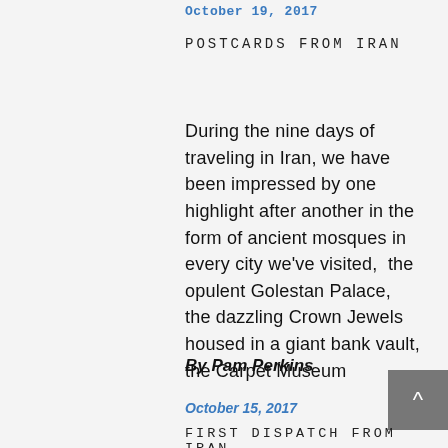October 19, 2017
POSTCARDS FROM IRAN
During the nine days of traveling in Iran, we have been impressed by one highlight after another in the form of ancient mosques in every city we've visited,  the opulent Golestan Palace, the dazzling Crown Jewels housed in a giant bank vault, the Carpet Museum
By Pam Perkins
October 15, 2017
FIRST DISPATCH FROM IRAN